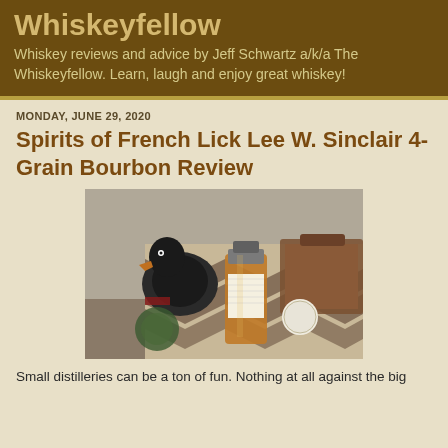Whiskeyfellow
Whiskey reviews and advice by Jeff Schwartz a/k/a The Whiskeyfellow. Learn, laugh and enjoy great whiskey!
MONDAY, JUNE 29, 2020
Spirits of French Lick Lee W. Sinclair 4-Grain Bourbon Review
[Figure (photo): Photo of a small sample bottle of Spirits of French Lick Lee 4-Grain bourbon with handwritten label, alongside a decorative duck figurine and patterned bag in the background]
Small distilleries can be a ton of fun. Nothing at all against the big